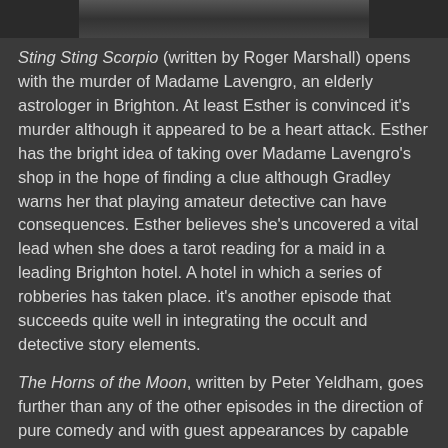[Figure (photo): Partial photo strip at top of page, dark tones]
Sting Sting Scorpio (written by Roger Marshall) opens with the murder of Madame Lavengro, an elderly astrologer in Brighton. At least Esther is convinced it's murder although it appeared to be a heart attack. Esther has the bright idea of taking over Madame Lavengro's shop in the hope of finding a clue although Gradley warns her that playing amateur detective can have consequences. Esther believes she's uncovered a vital lead when she does a tarot reading for a maid in a leading Brighton hotel. A hotel in which a series of robberies has taken place. it's another episode that succeeds quite well in integrating the occult and detective story elements.
The Horns of the Moon, written by Peter Yeldham, goes further than any of the other episodes in the direction of pure comedy and with guest appearances by capable comic talents such as Peter Jones, Graham Crowden and Michelle Dotrice it works splendidly. A retired general who runs a merchant bank ends up in the deep freeze. Gradley is sure he has the murderer pegged and Esther is equally convinced that he's wrong. Although played for comedy the mystery plot